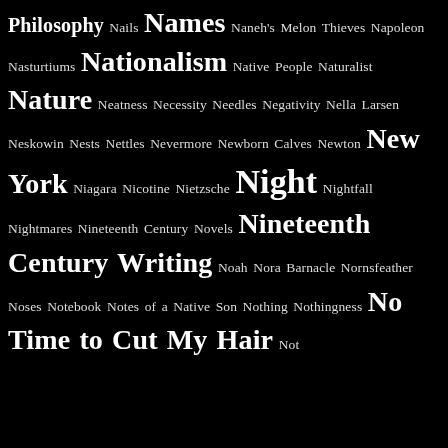Philosophy Nails Names Naneh's Melon Thieves Napoleon Nasturtiums Nationalism Native People Naturalist Nature Neatness Necessity Needles Negativity Nella Larsen Neskowin Nests Nettles Nevermore Newborn Calves Newton New York Niagara Nicotine Nietzsche Night Nightfall Nightmares Nineteenth Century Novels Nineteenth Century Writing Noah Nora Barnacle Nornsfeather Noses Notebook Notes of a Native Son Nothing Nothingness No Time to Cut My Hair Not